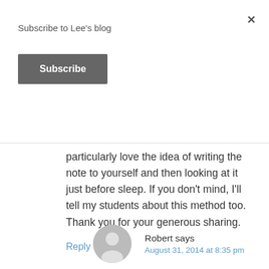Subscribe to Lee's blog
Subscribe
particularly love the idea of writing the note to yourself and then looking at it just before sleep. If you don't mind, I'll tell my students about this method too. Thank you for your generous sharing.
Reply
Robert says
August 31, 2014 at 8:35 pm